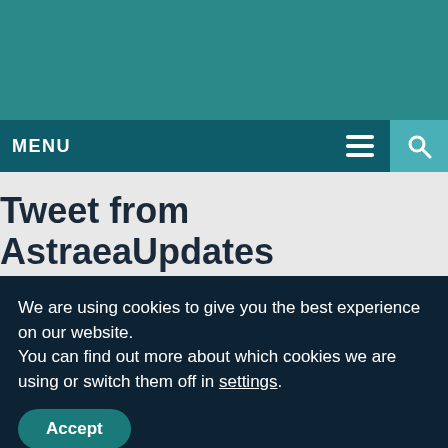[Figure (other): Teal website header banner]
MENU
Tweet from AstraeaUpdates
Inicio el 3er. Encuentro LesbiTransInter Feminista Venir al Sur del cual estamos participando, deseando que sea un encuentro...
Author @AstraeaUpdates Posted on November 28.
We are using cookies to give you the best experience on our website.
You can find out more about which cookies we are using or switch them off in settings.
Accept